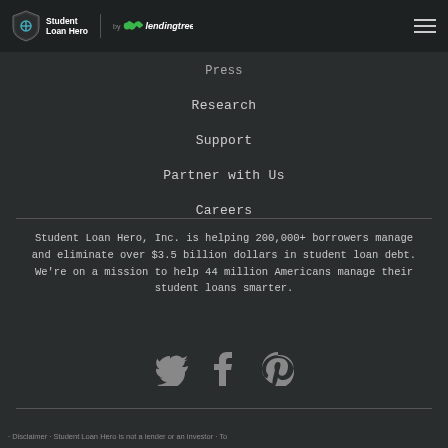Student Loan Hero | LendingTree
Press
Research
Support
Partner with Us
Careers
Student Loan Hero, Inc. is helping 200,000+ borrowers manage and eliminate over $3.5 billion dollars in student loan debt. We're on a mission to help 44 million Americans manage their student loans smarter.
[Figure (infographic): Social media icons: Twitter bird icon, Facebook 'f' icon, Pinterest 'P' icon in gray color]
· Disclaimer · Student Loan Hero is not a lender or an investor To